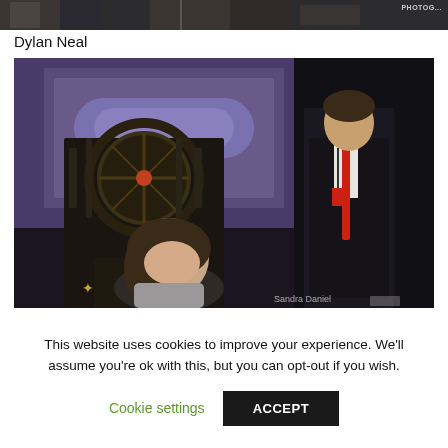[Figure (photo): Partial cropped photo at the top of the page showing a person, appears to be a concert or event photo with a watermark 'PHOTOG...' in the upper right corner]
Dylan Neal
[Figure (photo): Photo of two men on a stage — one seated looking up, in front of an ornate dark throne-like prop with a circular design, and one standing in a dark suit with red tie. Watermark 'Sandra Daniel' visible at bottom right.]
This website uses cookies to improve your experience. We'll assume you're ok with this, but you can opt-out if you wish.
Cookie settings
ACCEPT